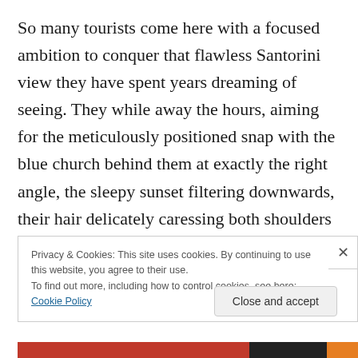So many tourists come here with a focused ambition to conquer that flawless Santorini view they have spent years dreaming of seeing. They while away the hours, aiming for the meticulously positioned snap with the blue church behind them at exactly the right angle, the sleepy sunset filtering downwards, their hair delicately caressing both shoulders in harmonious symmetry whilst their patient travel partners assume all manner of yoga
Privacy & Cookies: This site uses cookies. By continuing to use this website, you agree to their use.
To find out more, including how to control cookies, see here: Cookie Policy
Close and accept